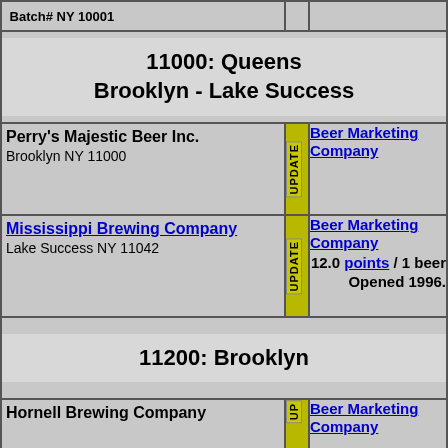Batch# NY 10001
11000: Queens Brooklyn - Lake Success
| Brewery | Update | Info |
| --- | --- | --- |
| Perry's Majestic Beer Inc.
Brooklyn NY 11000 | UPDATE | Beer Marketing Company |
| Mississippi Brewing Company
Lake Success NY 11042 | UPDATE | Beer Marketing Company
12.0 points / 1 beer
Opened 1996. |
11200: Brooklyn
| Brewery | Update | Info |
| --- | --- | --- |
| Hornell Brewing Company | UP | Beer Marketing Company |